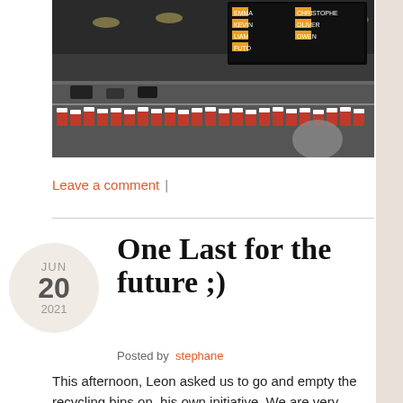[Figure (photo): Indoor go-kart track with red and white barriers, scoreboard visible in top right showing names including EMMA, KEVIN, LIAM, FUTO on left side and CHRISTOPHE, OLIVER, OWEN on right side]
Leave a comment  |
One Last for the future ;)
Posted by stephane
This afternoon, Leon asked us to go and empty the recycling bins on  his own initiative. We are very proud of this achievement, it became something of their weekly routine.